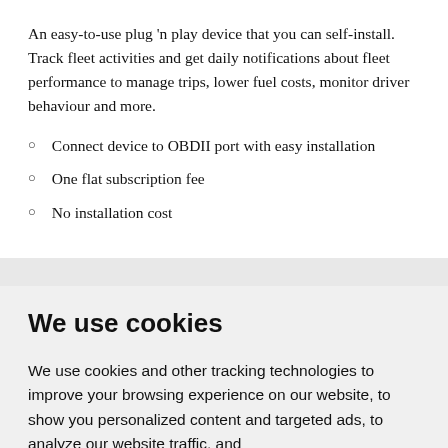An easy-to-use plug 'n play device that you can self-install. Track fleet activities and get daily notifications about fleet performance to manage trips, lower fuel costs, monitor driver behaviour and more.
Connect device to OBDII port with easy installation
One flat subscription fee
No installation cost
We use cookies
We use cookies and other tracking technologies to improve your browsing experience on our website, to show you personalized content and targeted ads, to analyze our website traffic, and